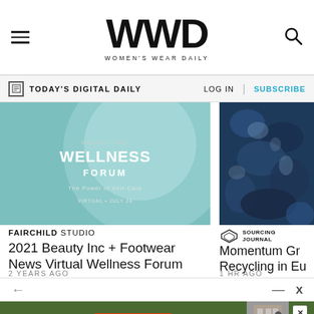WWD — Women's Wear Daily
TODAY'S DIGITAL DAILY  LOG IN  SUBSCRIBE
[Figure (photo): Teal/aqua background wellness forum promotional image with text 'WELLNESS FORUM – The Power of Self-Care – Virtual']
FAIRCHILD STUDIO
2021 Beauty Inc + Footwear News Virtual Wellness Forum
2 YEARS AGO
[Figure (photo): Dark blue/navy abstract textile or recycled material close-up photograph]
SOURCING JOURNAL
Momentum Gr... Recycling in Eu...
1 HR AGO
[Figure (other): WWD Weekend advertisement banner with red READ THE ISSUE button and figure photo]